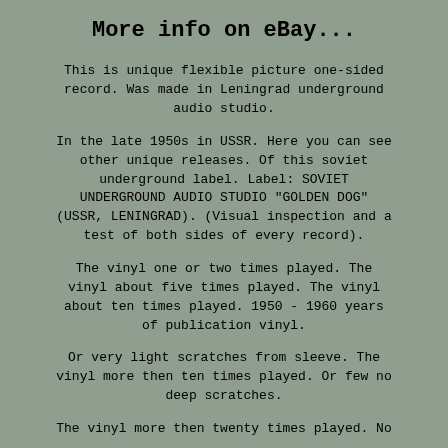More info on eBay...
This is unique flexible picture one-sided record. Was made in Leningrad underground audio studio.
In the late 1950s in USSR. Here you can see other unique releases. Of this soviet underground label. Label: SOVIET UNDERGROUND AUDIO STUDIO "GOLDEN DOG" (USSR, LENINGRAD). (Visual inspection and a test of both sides of every record).
The vinyl one or two times played. The vinyl about five times played. The vinyl about ten times played. 1950 - 1960 years of publication vinyl.
Or very light scratches from sleeve. The vinyl more then ten times played. Or few no deep scratches.
The vinyl more then twenty times played. No